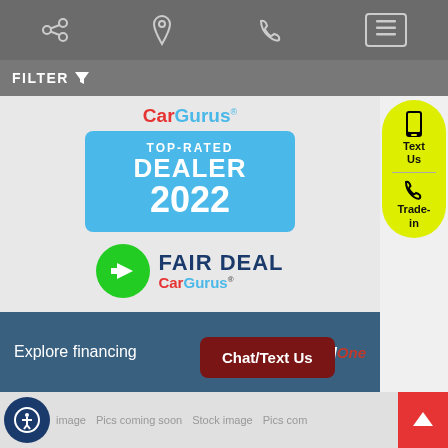Top navigation bar with share, location, phone, and menu icons
FILTER
[Figure (logo): CarGurus Top-Rated Dealer 2022 badge with Fair Deal CarGurus logo below]
Explore financing — Capital One
Chat/Text Us
Text Us
Trade-in
Stock image | Pics coming soon | Stock image | Pics com...